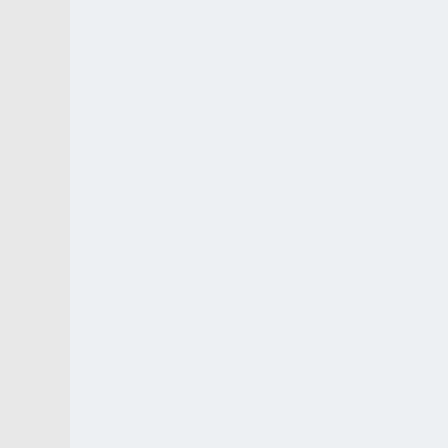This isn't a done deal yet, as the confirmed next Monday and, permanent lockdown have been government have signalled a very on them now would involve a hi fact, there was no reason why of weeks ago, as the SAGE fore the decision to extend the lockd hopelessly pessimistic. However pub trade needs to look forward It should be noted that all of the Scotland, Wales and Northern I same day, but will probably, as behind just to prove that they a pubs in those regions will have just half of it.
More...
Qu
« Previous Thread | Next Thread
Similar Threads